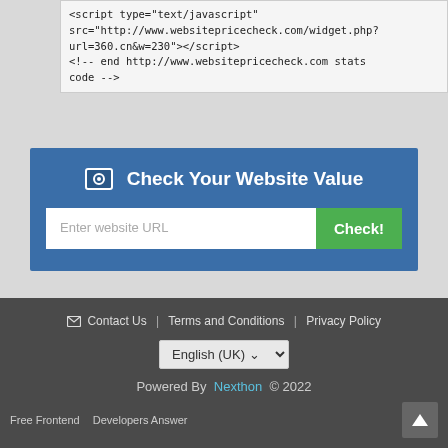[Figure (screenshot): Code snippet showing script tag with websitepricecheck.com widget URL and HTML comment]
Check Your Website Value
Enter website URL | Check!
Contact Us | Terms and Conditions | Privacy Policy | English (UK) | Powered By Nexthon © 2022 | Free Frontend | Developers Answer